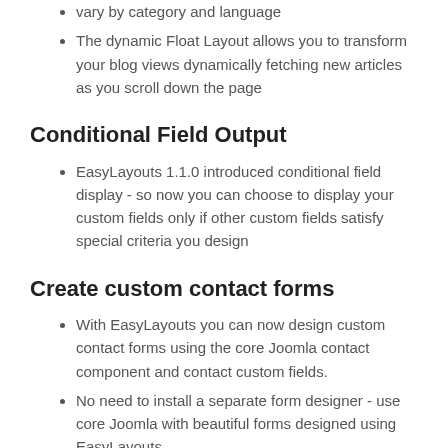vary by category and language
The dynamic Float Layout allows you to transform your blog views dynamically fetching new articles as you scroll down the page
Conditional Field Output
EasyLayouts 1.1.0 introduced conditional field display - so now you can choose to display your custom fields only if other custom fields satisfy special criteria you design
Create custom contact forms
With EasyLayouts you can now design custom contact forms using the core Joomla contact component and contact custom fields.
No need to install a separate form designer - use core Joomla with beautiful forms designed using EasyLayouts
Use the new conditional field output to create conditional form field questions e.g. "Any special